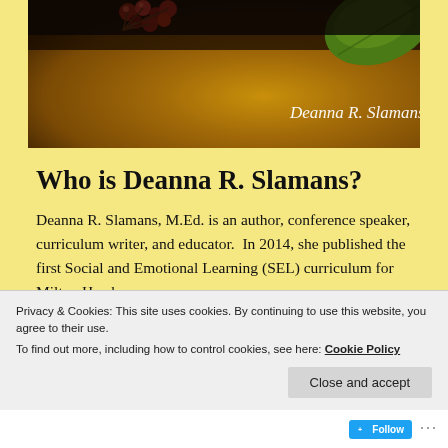[Figure (photo): Hero banner image with dark nature background showing berries/plant at top, green leaf in upper right corner. Author name 'Deanna R. Slamans' displayed in white italic text overlaid on the image.]
Who is Deanna R. Slamans?
Deanna R. Slamans, M.Ed. is an author, conference speaker, curriculum writer, and educator.  In 2014, she published the first Social and Emotional Learning (SEL) curriculum for Milton Hershey
Privacy & Cookies: This site uses cookies. By continuing to use this website, you agree to their use.
To find out more, including how to control cookies, see here: Cookie Policy
Close and accept